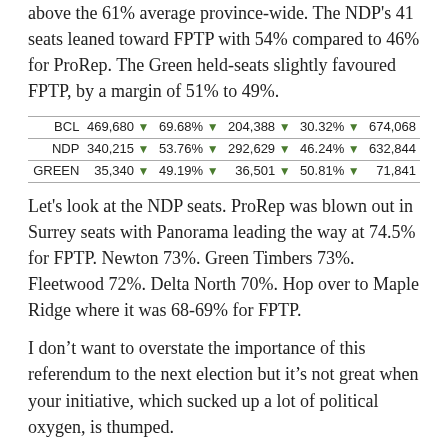above the 61% average province-wide.  The NDP's 41 seats leaned toward FPTP with 54% compared to 46% for ProRep.  The Green held-seats slightly favoured FPTP, by a margin of 51% to 49%.
|  | FPTP votes | FPTP% | ProRep votes | ProRep% | Total |
| --- | --- | --- | --- | --- | --- |
| BCL | 469,680 | 69.68% | 204,388 | 30.32% | 674,068 |
| NDP | 340,215 | 53.76% | 292,629 | 46.24% | 632,844 |
| GREEN | 35,340 | 49.19% | 36,501 | 50.81% | 71,841 |
Let's look at the NDP seats.  ProRep was blown out in Surrey seats with Panorama leading the way at 74.5% for FPTP.  Newton 73%.  Green Timbers 73%.  Fleetwood 72%.  Delta North 70%.  Hop over to Maple Ridge where it was 68-69% for FPTP.
I don't want to overstate the importance of this referendum to the next election but it's not great when your initiative, which sucked up a lot of political oxygen, is thumped.